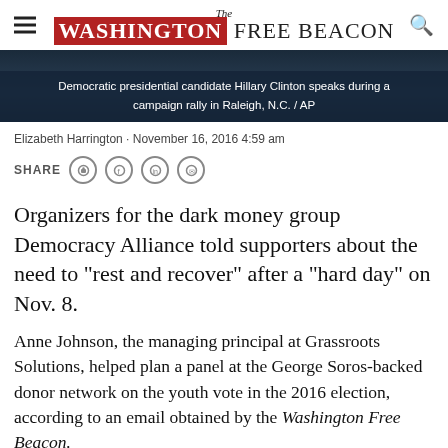The Washington Free Beacon
[Figure (photo): Dark image of Hillary Clinton speaking at a campaign rally, with caption overlay text at bottom]
Democratic presidential candidate Hillary Clinton speaks during a campaign rally in Raleigh, N.C. / AP
Elizabeth Harrington · November 16, 2016 4:59 am
SHARE [social icons]
Organizers for the dark money group Democracy Alliance told supporters about the need to "rest and recover" after a "hard day" on Nov. 8.
Anne Johnson, the managing principal at Grassroots Solutions, helped plan a panel at the George Soros-backed donor network on the youth vote in the 2016 election, according to an email obtained by the Washington Free Beacon.